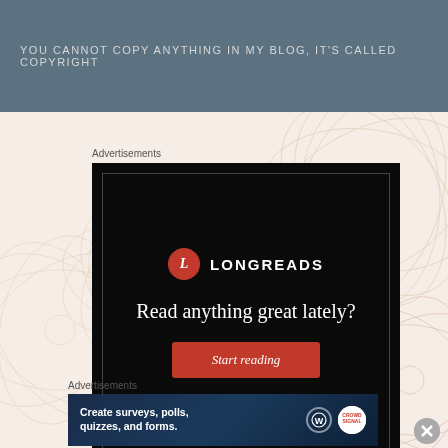YOU CANNOT COPY ANYTHING IN MY BLOG, it's called Copyright
Advertisements
[Figure (infographic): Longreads advertisement with dark background, red circle logo with 'L', text 'Read anything great lately?' and a red 'Start reading' button]
Advertisements
[Figure (infographic): Survey/forms advertisement with dark blue background, text 'Create surveys, polls, quizzes, and forms.' with WordPress and Crowdsignal logos]